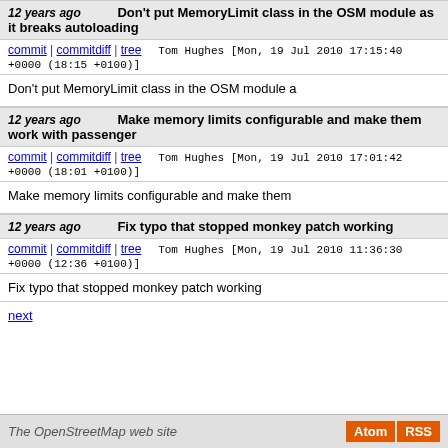12 years ago  Don't put MemoryLimit class in the OSM module as it breaks autoloading
commit | commitdiff | tree  Tom Hughes [Mon, 19 Jul 2010 17:15:40 +0000 (18:15 +0100)]
Don't put MemoryLimit class in the OSM module a
12 years ago  Make memory limits configurable and make them work with passenger
commit | commitdiff | tree  Tom Hughes [Mon, 19 Jul 2010 17:01:42 +0000 (18:01 +0100)]
Make memory limits configurable and make them
12 years ago  Fix typo that stopped monkey patch working
commit | commitdiff | tree  Tom Hughes [Mon, 19 Jul 2010 11:36:30 +0000 (12:36 +0100)]
Fix typo that stopped monkey patch working
next
The OpenStreetMap web site  Atom  RSS